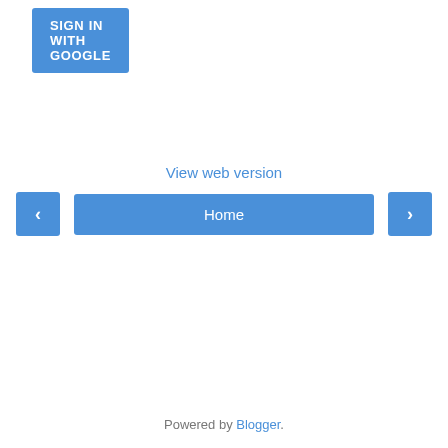SIGN IN WITH GOOGLE
‹
Home
›
View web version
Powered by Blogger.